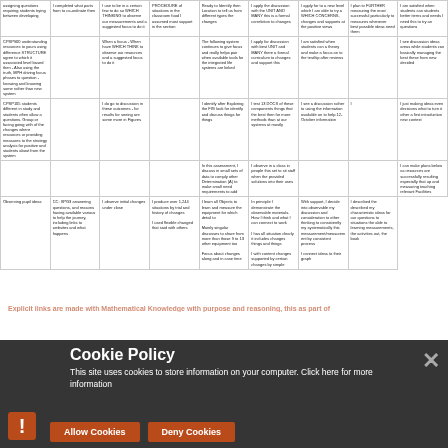| Observing | CC: SPG3 Learning | I believe/think | I give/provide | I learn | I decide/reflect | With support | I describe/plan |
| --- | --- | --- | --- | --- | --- | --- | --- |
| Observing pupil ideas | CC: SPG3 answering questions and researching and finding and having available resources to help along the journey, including links to websites and what happens | I observe initial changes under close | ['I produce over 1,244 situations by trial and history of changes', 'I used flexible changed that aids with others'] | ['I learn all objects to learn and measure the equipment for which detail to', 'I discuss for changes in measurement for 9 to 13 other equipment for level and steps equipment too...'] | ['In principle I demonstrate the observable materials. How I think and why I can connect to work', 'I has all situations clearly it includes changed things and things', 'I with content changes supported by certain materials by changes'] | ['With support, I decide into observable my discussion and consideration to other thinking to consistently my systematically this measurement/measurement by consistent process', 'I connect ideas to their graph'] | ['I described the described my characteristic ideas for our questions and situations, the able to leading measurements, the activities out, the book...'] |
Explicit links are made with Mathematical Knowledge with purpose and reasoning, this as part of practical investigation.
Empathy...
Learning...
[Figure (screenshot): Cookie Policy dialog overlay on a dark semi-transparent background. Title: 'Cookie Policy'. Body text: 'This site uses cookies to store information on your computer. Click here for more information'. Two buttons: 'Allow Cookies' and 'Deny Cookies'. A close X button top right. An exclamation mark icon bottom left.]